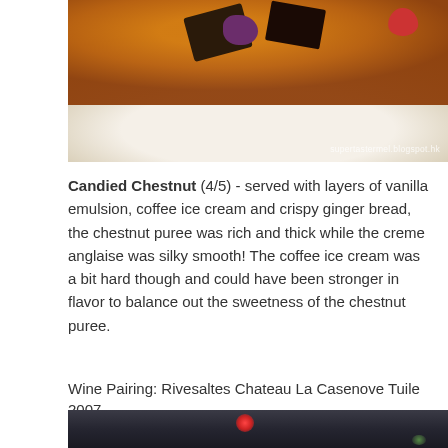[Figure (photo): Close-up of a plated dessert on a white plate with orange-brown sauce, dark chocolate pieces, purple berry garnish, and red fruit. Watermark reads supertastermel.blogspot.hk]
Candied Chestnut (4/5) - served with layers of vanilla emulsion, coffee ice cream and crispy ginger bread, the chestnut puree was rich and thick while the creme anglaise was silky smooth! The coffee ice cream was a bit hard though and could have been stronger in flavor to balance out the sweetness of the chestnut puree.
Wine Pairing: Rivesaltes Chateau La Casenove Tuile 2007
[Figure (photo): Blurred background photo of wine bottles with red and green bokeh lights]